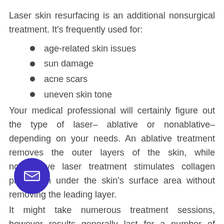Laser skin resurfacing is an additional nonsurgical treatment. It's frequently used for:
age-related skin issues
sun damage
acne scars
uneven skin tone
Your medical professional will certainly figure out the type of laser– ablative or nonablative– depending on your needs. An ablative treatment removes the outer layers of the skin, while nonablative laser treatment stimulates collagen production under the skin's surface area without removing the leading layer.
It might take numerous treatment sessions, however results generally last for a number of years. Laser skin resurfacing can cost anywhere